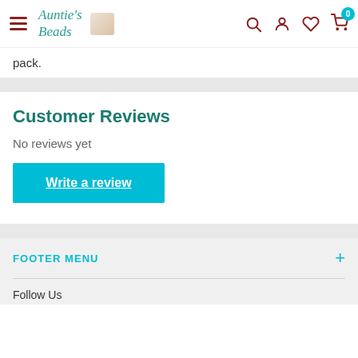Auntie's Beads — navigation header with hamburger menu, logo, search, account, wishlist, and cart (0 items)
pack.
Customer Reviews
No reviews yet
Write a review
FOOTER MENU
Follow Us